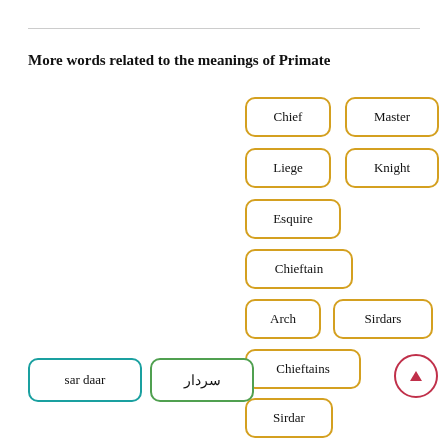More words related to the meanings of Primate
Chief
Master
Liege
Knight
Esquire
Chieftain
Arch
Sirdars
Chieftains
Sirdar
sar daar
سردار